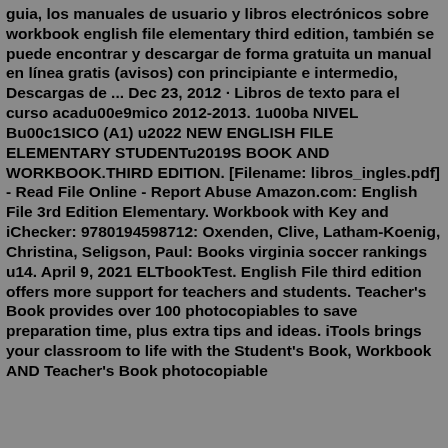guia, los manuales de usuario y libros electronicos sobre workbook english file elementary third edition, también se puede encontrar y descargar de forma gratuita un manual en línea gratis (avisos) con principiante e intermedio, Descargas de ... Dec 23, 2012 · Libros de texto para el curso acadu00e9mico 2012-2013. 1u00ba NIVEL Bu00c1SICO (A1) u2022 NEW ENGLISH FILE ELEMENTARY STUDENTu2019S BOOK AND WORKBOOK.THIRD EDITION. [Filename: libros_ingles.pdf] - Read File Online - Report Abuse Amazon.com: English File 3rd Edition Elementary. Workbook with Key and iChecker: 9780194598712: Oxenden, Clive, Latham-Koenig, Christina, Seligson, Paul: Books virginia soccer rankings u14. April 9, 2021 ELTbookTest. English File third edition offers more support for teachers and students. Teacher's Book provides over 100 photocopiables to save preparation time, plus extra tips and ideas. iTools brings your classroom to life with the Student's Book, Workbook AND Teacher's Book photocopiable